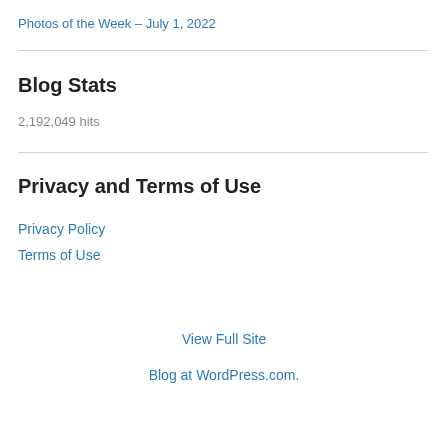Photos of the Week – July 1, 2022
Blog Stats
2,192,049 hits
Privacy and Terms of Use
Privacy Policy
Terms of Use
View Full Site
Blog at WordPress.com.